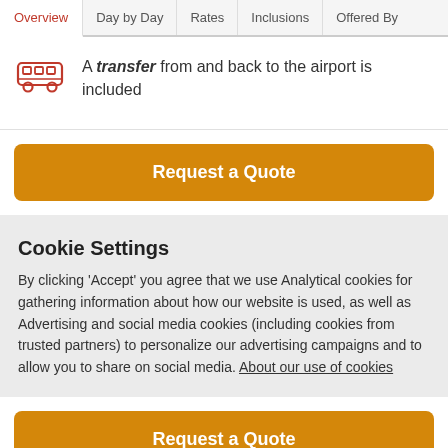Overview | Day by Day | Rates | Inclusions | Offered By
A transfer from and back to the airport is included
Request a Quote
Cookie Settings
By clicking ‘Accept’ you agree that we use Analytical cookies for gathering information about how our website is used, as well as Advertising and social media cookies (including cookies from trusted partners) to personalize our advertising campaigns and to allow you to share on social media. About our use of cookies
Request a Quote